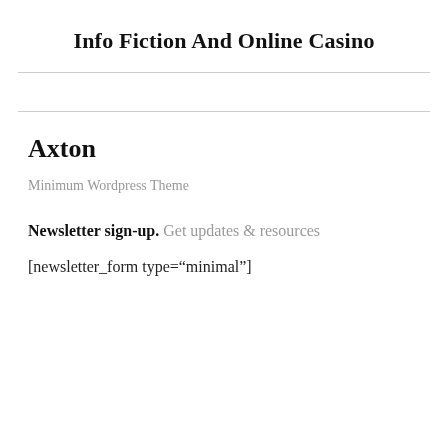Info Fiction And Online Casino
Axton
Minimum Wordpress Theme
Newsletter sign-up. Get updates & resources
[newsletter_form type="minimal"]